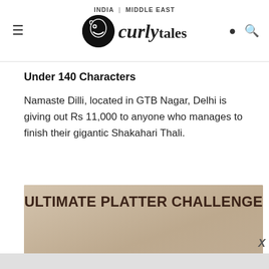INDIA | MIDDLE EAST — Curly Tales
Under 140 Characters
Namaste Dilli, located in GTB Nagar, Delhi is giving out Rs 11,000 to anyone who manages to finish their gigantic Shakahari Thali.
[Figure (photo): Photo of an Indian Shakahari Thali platter with multiple clay bowls containing various dishes, garnished with pomegranate seeds and nuts. Text overlay reads ULTIMATE PLATTER CHALLENGE.]